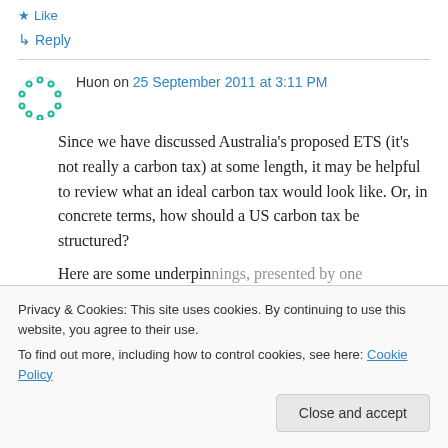★ Like
↳ Reply
Huon on 25 September 2011 at 3:11 PM
Since we have discussed Australia's proposed ETS (it's not really a carbon tax) at some length, it may be helpful to review what an ideal carbon tax would look like. Or, in concrete terms, how should a US carbon tax be structured?
Here are some underpinnings, presented by one
Privacy & Cookies: This site uses cookies. By continuing to use this website, you agree to their use.
To find out more, including how to control cookies, see here: Cookie Policy
Close and accept